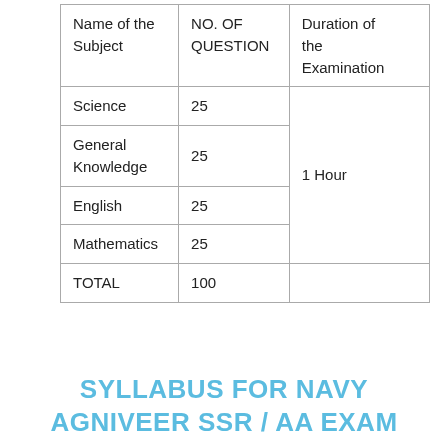| Name of the Subject | NO. OF QUESTION | Duration of the Examination |
| --- | --- | --- |
| Science | 25 |  |
| General Knowledge | 25 | 1 Hour |
| English | 25 |  |
| Mathematics | 25 |  |
| TOTAL | 100 |  |
SYLLABUS FOR NAVY AGNIVEER SSR / AA EXAM